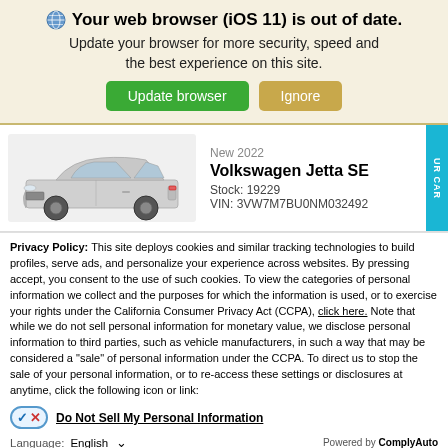Your web browser (iOS 11) is out of date.
Update your browser for more security, speed and the best experience on this site.
[Figure (screenshot): Update browser and Ignore buttons]
[Figure (photo): New 2022 Volkswagen Jetta SE, Stock: 19229, VIN: 3VW7M7BU0NM032492]
Privacy Policy: This site deploys cookies and similar tracking technologies to build profiles, serve ads, and personalize your experience across websites. By pressing accept, you consent to the use of such cookies. To view the categories of personal information we collect and the purposes for which the information is used, or to exercise your rights under the California Consumer Privacy Act (CCPA), click here. Note that while we do not sell personal information for monetary value, we disclose personal information to third parties, such as vehicle manufacturers, in such a way that may be considered a "sale" of personal information under the CCPA. To direct us to stop the sale of your personal information, or to re-access these settings or disclosures at anytime, click the following icon or link:
Do Not Sell My Personal Information
Language: English
Powered by ComplyAuto
Accept and Continue →
California Privacy Disclosures